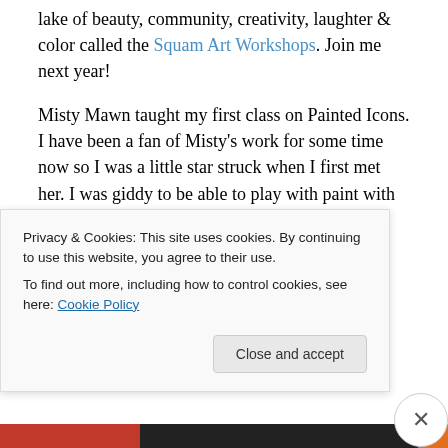lake of beauty, community, creativity, laughter & color called the Squam Art Workshops. Join me next year!
Misty Mawn taught my first class on Painted Icons. I have been a fan of Misty's work for some time now so I was a little star struck when I first met her. I was giddy to be able to play with paint with her & the amazing women in that class. The paintings that we created that day were all so gorgeous, emotive & unique in everyone's own expression.
Here is what it looked like:
Privacy & Cookies: This site uses cookies. By continuing to use this website, you agree to their use.
To find out more, including how to control cookies, see here: Cookie Policy